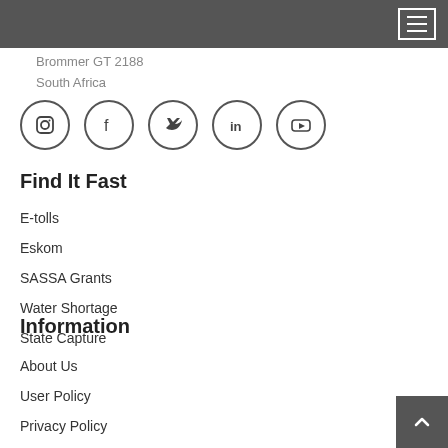[Navigation menu bar with hamburger icon]
Brommer GT 2188
South Africa
[Figure (illustration): Row of five social media icons in circles: Instagram, Facebook, Twitter, LinkedIn, YouTube]
Find It Fast
E-tolls
Eskom
SASSA Grants
Water Shortage
State Capture
Information
About Us
User Policy
Privacy Policy